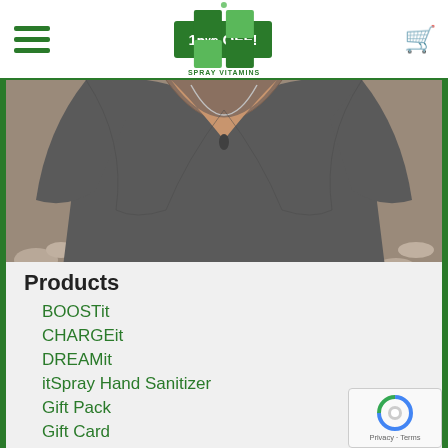IT Spray Vitamins — 15% OFF! [navigation header with hamburger menu, logo, promo button, cart]
[Figure (photo): Close-up photo of a woman's torso wearing a dark gray v-neck t-shirt with a pendant necklace, outdoors with rocks/gravel in background]
Products
BOOSTit
CHARGEit
DREAMit
itSpray Hand Sanitizer
Gift Pack
Gift Card